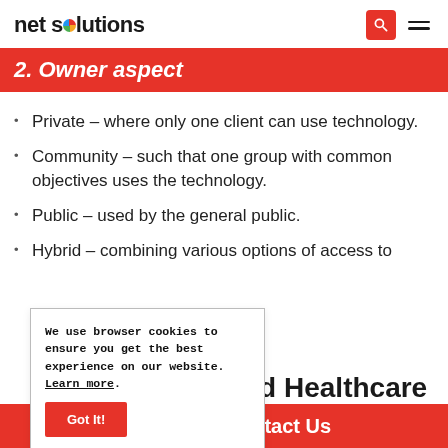net solutions
2. Owner aspect
Private – where only one client can use technology.
Community – such that one group with common objectives uses the technology.
Public – used by the general public.
Hybrid – combining various options of access to
We use browser cookies to ensure you get the best experience on our website. Learn more.
Got It!
ud Healthcare
ontact Us